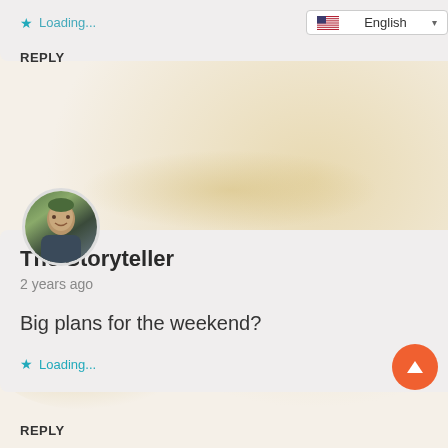[Figure (screenshot): Comment interface showing Loading... with star icon and English language dropdown]
REPLY
[Figure (photo): Circular avatar photo of a man outdoors]
The Storyteller
2 years ago
Big plans for the weekend?
Loading...
REPLY